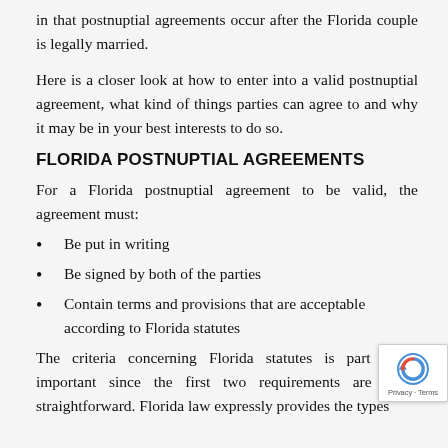in that postnuptial agreements occur after the Florida couple is legally married.
Here is a closer look at how to enter into a valid postnuptial agreement, what kind of things parties can agree to and why it may be in your best interests to do so.
FLORIDA POSTNUPTIAL AGREEMENTS
For a Florida postnuptial agreement to be valid, the agreement must:
Be put in writing
Be signed by both of the parties
Contain terms and provisions that are acceptable according to Florida statutes
The criteria concerning Florida statutes is particularly important since the first two requirements are fairly straightforward. Florida law expressly provides the types